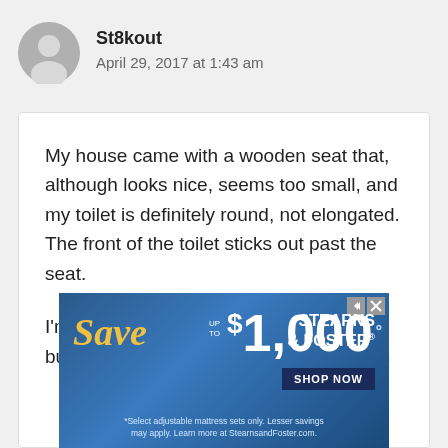[Figure (illustration): Grey circular avatar icon with a person silhouette]
St8kout
April 29, 2017 at 1:43 am
My house came with a wooden seat that, although looks nice, seems too small, and my toilet is definitely round, not elongated. The front of the toilet sticks out past the seat.
I'm looking to upgrading to a seat with a built-in bidet. I have an add-on bidet from
[Figure (screenshot): Stearns & Foster advertisement: Save up to $1,000. Shop Now. Select adjustable mattress sets only. Lesser savings may apply. Learn more at StearnsandFoster.com.]